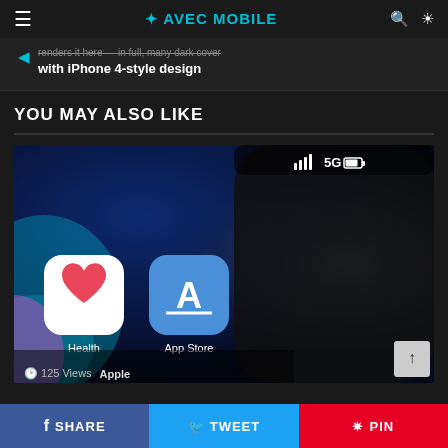≡ AVEC MOBILE 🔍 ☀
with iPhone 4-style design
YOU MAY ALSO LIKE
[Figure (photo): Close-up photo of an iPhone showing Health and App Store icons with 5G signal indicator]
125 Views  Apple